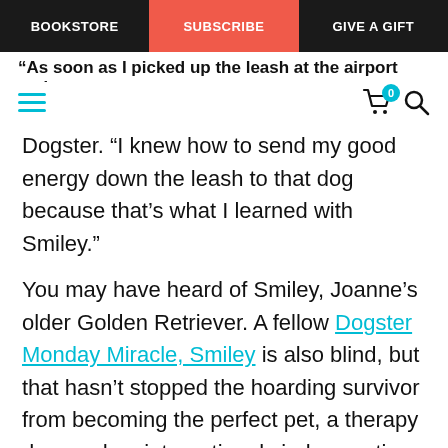BOOKSTORE | SUBSCRIBE | GIVE A GIFT
“As soon as I picked up the leash at the airport and
Dogster. “I knew how to send my good energy down the leash to that dog because that’s what I learned with Smiley.”
You may have heard of Smiley, Joanne’s older Golden Retriever. A fellow Dogster Monday Miracle, Smiley is also blind, but that hasn’t stopped the hoarding survivor from becoming the perfect pet, a therapy dog, and an international viral sensation. He’s been with Joanne for more than a decade now, and has taught her a lifetime of lessons about helping blind